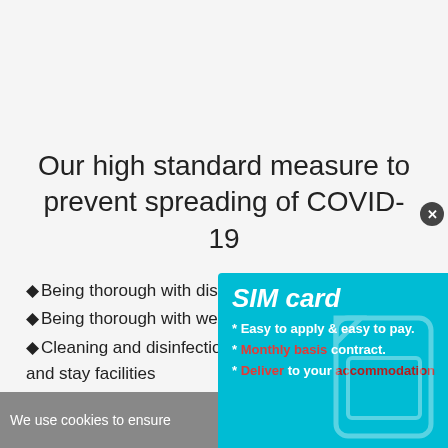Our high standard measure to prevent spreading of COVID-19
Being thorough with disinfection
Being thorough with wearing face masks
Cleaning and disinfection of transportation vehicles and stay facilities
Non-face-to-face online...
We use cookies to ensure...
[Figure (infographic): SIM card advertisement overlay: cyan/blue background with SIM card graphic. Text: 'SIM card', '* Easy to apply & easy to pay.', '* Monthly basis contract.', '* Deliver to your accommodation']